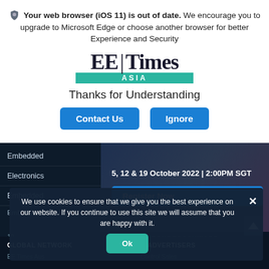Your web browser (iOS 11) is out of date. We encourage you to upgrade to Microsoft Edge or choose another browser for better Experience and Security
[Figure (logo): EE Times Asia logo with teal ASIA bar]
Thanks for Understanding
Contact Us | Ignore (buttons)
[Figure (screenshot): EE Times Asia website background with navigation items: Embedded, Electronics, Embedded, Embedded, and webinar banner showing 5, 12 & 19 October 2022 | 2:00PM SGT with Register Now button]
We use cookies to ensure that we give you the best experience on our website. If you continue to use this site we will assume that you are happy with it.
Ok (button)